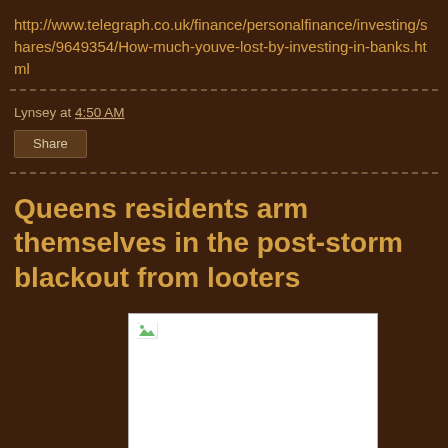http://www.telegraph.co.uk/finance/personalfinance/investing/shares/9649354/How-much-youve-lost-by-investing-in-banks.html
Lynsey at 4:50 AM
Share
Queens residents arm themselves in the post-storm blackout from looters
[Figure (photo): Broken/missing image placeholder shown as white rectangle with broken image icon in top-left corner]